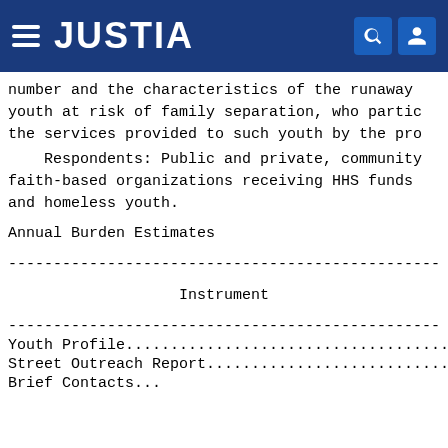JUSTIA
number and the characteristics of the runaway youth at risk of family separation, who partic the services provided to such youth by the pro
Respondents: Public and private, community faith-based organizations receiving HHS funds and homeless youth.
Annual Burden Estimates
-----------------------------------------------
Instrument
-----------------------------------------------
Youth Profile....................................
Street Outreach Report...........................
Brief Contacts...